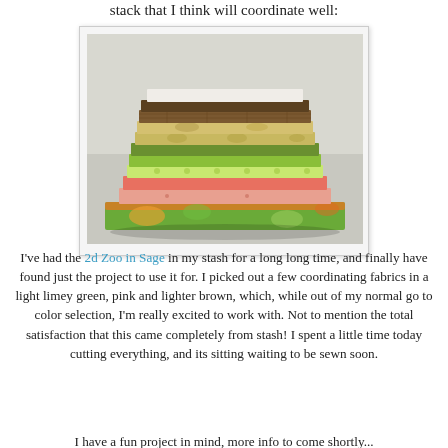stack that I think will coordinate well:
[Figure (photo): A stack of folded fabric pieces in various colors and patterns including white, brown, tan/gold, olive green, lime green, light green, coral/orange, pink, and a multi-colored floral print at the bottom, arranged in a neat pile on a light gray surface.]
I've had the 2d Zoo in Sage in my stash for a long long time, and finally have found just the project to use it for.  I picked out a few coordinating fabrics in a light limey green, pink and lighter brown, which, while out of my normal go to color selection, I'm really excited to work with.  Not to mention the total satisfaction that this came completely from stash!  I spent a little time today cutting everything, and its sitting waiting to be sewn soon.
I have a fun project in mind, more info to come shortly...